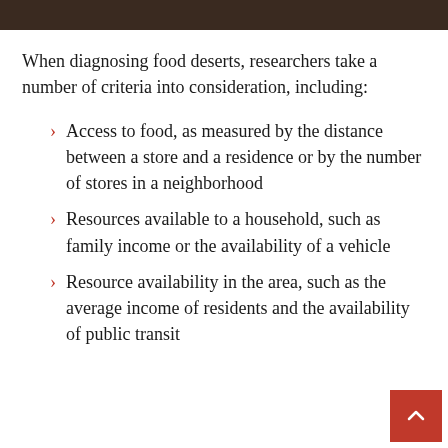[Figure (photo): Dark brown/black image strip at top of page, partial photograph]
When diagnosing food deserts, researchers take a number of criteria into consideration, including:
Access to food, as measured by the distance between a store and a residence or by the number of stores in a neighborhood
Resources available to a household, such as family income or the availability of a vehicle
Resource availability in the area, such as the average income of residents and the availability of public transit